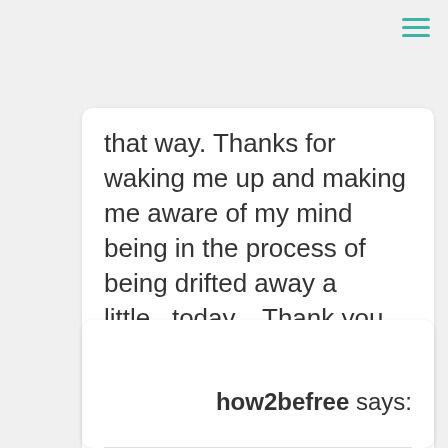that way. Thanks for waking me up and making me aware of my mind being in the process of being drifted away a little...today... Thank you for being there for us and for me. I love you, Randy. Hope you had a great weekend. May God bless you everyday. Love and hugs:: -saachi
Reply
how2befree says: